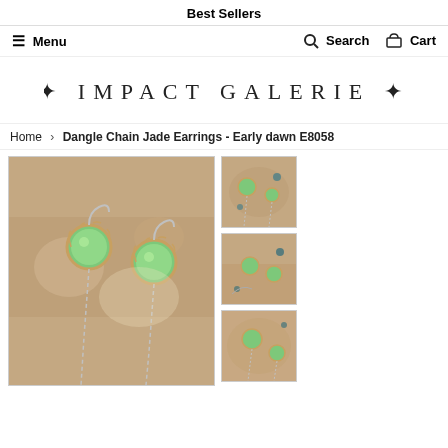Best Sellers
≡ Menu   🔍 Search   🛒 Cart
[Figure (logo): Impact Galerie logo with decorative asterisk symbols on each side]
Home › Dangle Chain Jade Earrings - Early dawn E8058
[Figure (photo): Main product photo of dangle chain jade earrings with green round jade stones in silver crown settings with long dangling chains, on a textured stone background]
[Figure (photo): Thumbnail 1: top-down view of green jade earrings on stone background]
[Figure (photo): Thumbnail 2: another angle of green jade earrings on stone background]
[Figure (photo): Thumbnail 3: partial view of green jade earrings on stone background]